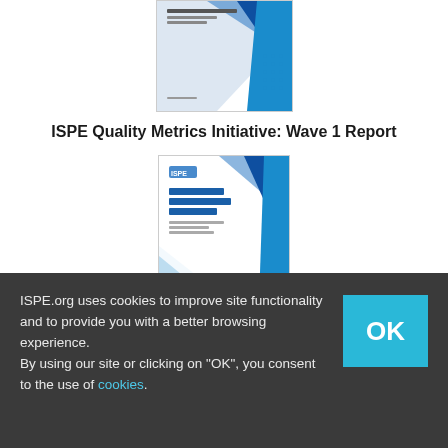[Figure (illustration): Cover page thumbnail of ISPE Quality Metrics Initiative Wave 1 Report showing blue diagonal design with dots pattern]
ISPE Quality Metrics Initiative: Wave 1 Report
[Figure (illustration): Cover page thumbnail of ISPE Quality Metrics Initiative Wave 2 report showing blue diagonal design with ISPE logo]
ISPE.org uses cookies to improve site functionality and to provide you with a better browsing experience.
By using our site or clicking on "OK", you consent to the use of cookies.